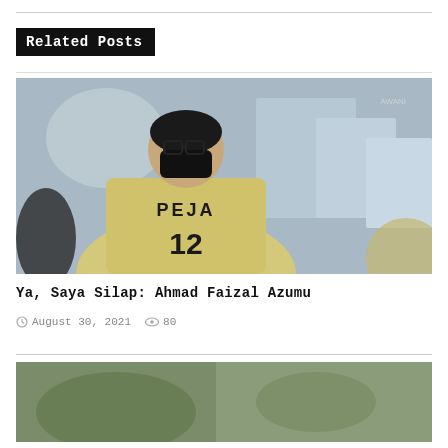Related Posts
[Figure (photo): Person seen from behind wearing a yellow jersey with 'PEJA 12' printed on it and a black face mask, outdoors at what appears to be a sports venue]
Ya, Saya Silap: Ahmad Faizal Azumu
August 30, 2021   80
[Figure (photo): Partially visible second related post image at the bottom of the page]